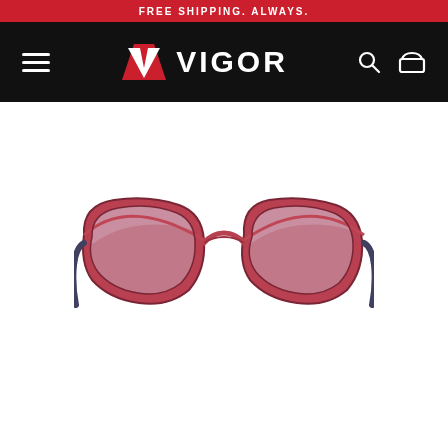FREE SHIPPING. ALWAYS.
[Figure (logo): VIGOR brand navigation bar with hamburger menu icon on left, Vigor logo (stylized V chevron in red and white with VIGOR text in white) in center, search and basket icons on right, on black background]
[Figure (photo): Pair of sunglasses with reddish-pink matte frames and light purple/lavender gradient lenses, photographed from the front on a white background]